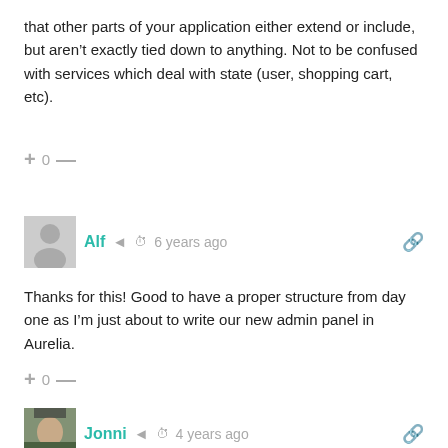that other parts of your application either extend or include, but aren't exactly tied down to anything. Not to be confused with services which deal with state (user, shopping cart, etc).
+ 0 —
Alf  6 years ago
Thanks for this! Good to have a proper structure from day one as I'm just about to write our new admin panel in Aurelia.
+ 0 —
Jonni  4 years ago